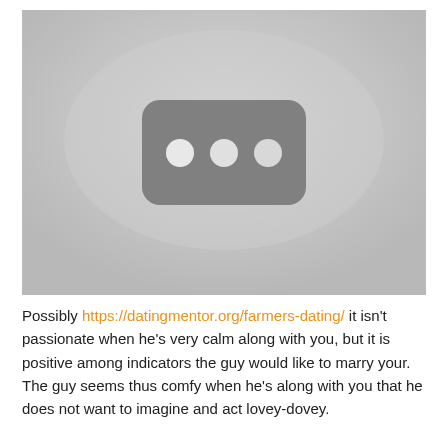[Figure (other): A grayscale placeholder image with a rounded rectangle containing three white circles arranged horizontally in the center, resembling a YouTube thumbnail placeholder or video unavailable icon.]
Possibly https://datingmentor.org/farmers-dating/ it isn't passionate when he's very calm along with you, but it is positive among indicators the guy would like to marry your. The guy seems thus comfy when he's along with you that he does not want to imagine and act lovey-dovey.